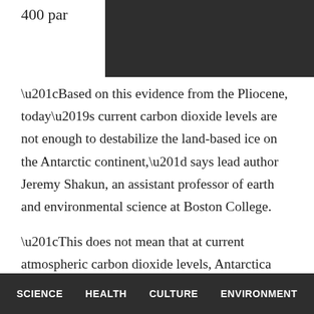400 par
[Figure (photo): Dark rectangular image area partially obscuring the top of the page]
“Based on this evidence from the Pliocene, today’s current carbon dioxide levels are not enough to destabilize the land-based ice on the Antarctic continent,” says lead author Jeremy Shakun, an assistant professor of earth and environmental science at Boston College.
“This does not mean that at current atmospheric carbon dioxide levels, Antarctica won’t contribute to sea level rise. Marine-based ice very well could and in fact is already starting to contribute, and that alone holds an estimated 20 meters of sea level rise. We’re saying that the terrestrial segment is more resilient at current
SCIENCE   HEALTH   CULTURE   ENVIRONMENT